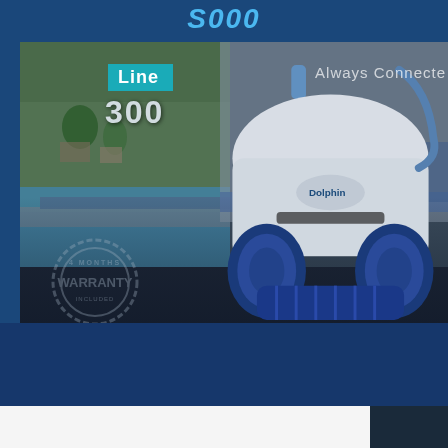S000
[Figure (photo): Dolphin robotic pool cleaner (blue and white) shown close-up on pool deck, with pool water visible in background. 'Line' teal badge and '300' model number overlaid on left. 'Always Connected' text overlaid on right. A warranty stamp watermark visible at bottom left of image.]
Line
300
Always Connected